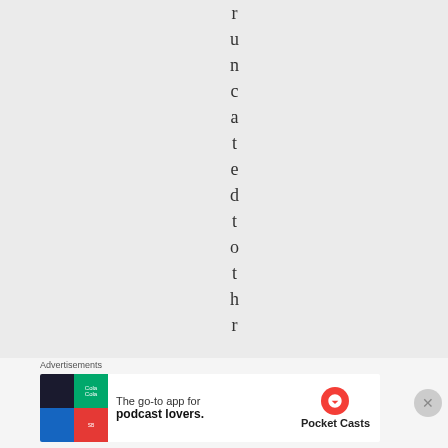truncatedtothr
Advertisements
[Figure (other): Pocket Casts app advertisement banner reading 'The go-to app for podcast lovers.' with Pocket Casts logo]